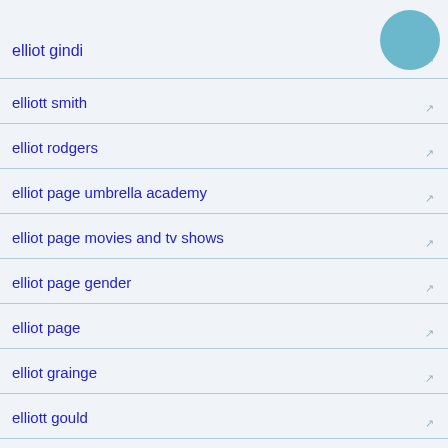elliot gindi
elliott smith
elliot rodgers
elliot page umbrella academy
elliot page movies and tv shows
elliot page gender
elliot page
elliot grainge
elliott gould
elliott yamin